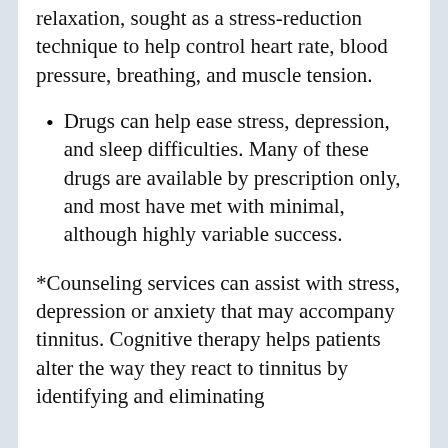relaxation, sought as a stress-reduction technique to help control heart rate, blood pressure, breathing, and muscle tension.
Drugs can help ease stress, depression, and sleep difficulties. Many of these drugs are available by prescription only, and most have met with minimal, although highly variable success.
*Counseling services can assist with stress, depression or anxiety that may accompany tinnitus. Cognitive therapy helps patients alter the way they react to tinnitus by identifying and eliminating negative thoughts and behaviors that